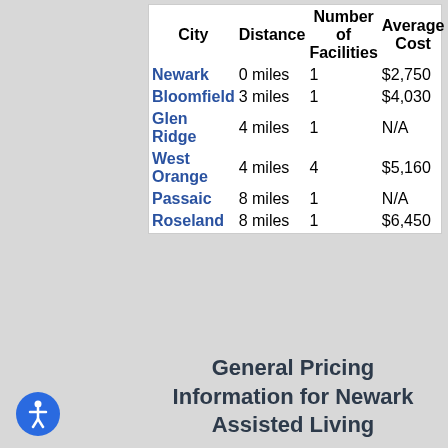| City | Distance | Number of Facilities | Average Cost |
| --- | --- | --- | --- |
| Newark | 0 miles | 1 | $2,750 |
| Bloomfield | 3 miles | 1 | $4,030 |
| Glen Ridge | 4 miles | 1 | N/A |
| West Orange | 4 miles | 4 | $5,160 |
| Passaic | 8 miles | 1 | N/A |
| Roseland | 8 miles | 1 | $6,450 |
General Pricing Information for Newark Assisted Living